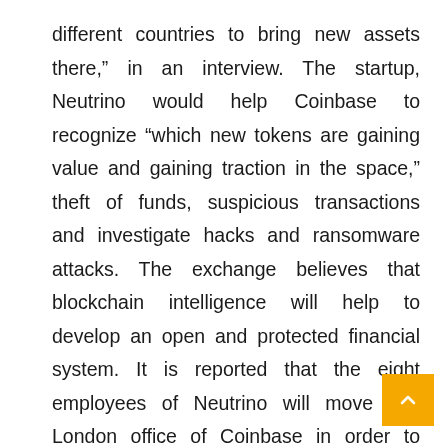different countries to bring new assets there,” in an interview. The startup, Neutrino would help Coinbase to recognize “which new tokens are gaining value and gaining traction in the space,” theft of funds, suspicious transactions and investigate hacks and ransomware attacks. The exchange believes that blockchain intelligence will help to develop an open and protected financial system. It is reported that the eight employees of Neutrino will move into London office of Coinbase in order to continue serving external clients.